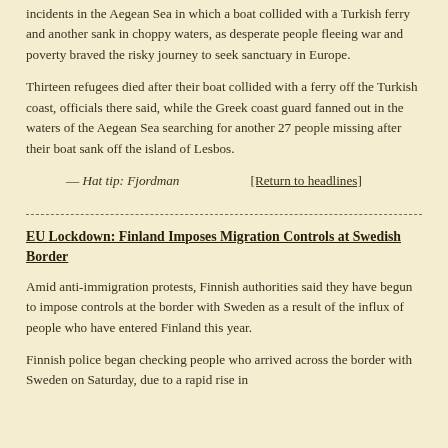incidents in the Aegean Sea in which a boat collided with a Turkish ferry and another sank in choppy waters, as desperate people fleeing war and poverty braved the risky journey to seek sanctuary in Europe.
Thirteen refugees died after their boat collided with a ferry off the Turkish coast, officials there said, while the Greek coast guard fanned out in the waters of the Aegean Sea searching for another 27 people missing after their boat sank off the island of Lesbos.
— Hat tip: Fjordman    [Return to headlines]
EU Lockdown: Finland Imposes Migration Controls at Swedish Border
Amid anti-immigration protests, Finnish authorities said they have begun to impose controls at the border with Sweden as a result of the influx of people who have entered Finland this year.
Finnish police began checking people who arrived across the border with Sweden on Saturday, due to a rapid rise in